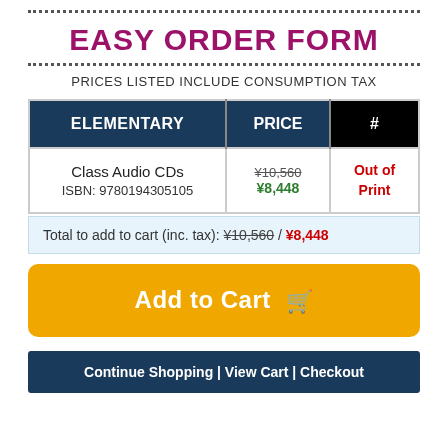EASY ORDER FORM
PRICES LISTED INCLUDE CONSUMPTION TAX
| ELEMENTARY | PRICE | # |
| --- | --- | --- |
| Class Audio CDs
ISBN: 9780194305105 | ¥10,560 / ¥8,448 | Out of Print |
Total to add to cart (inc. tax): ¥10,560 / ¥8,448
Add to Cart 🛒
Continue Shopping | View Cart | Checkout